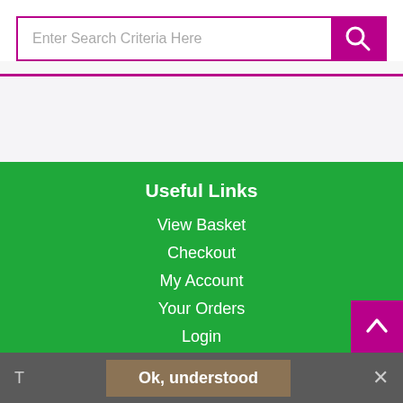[Figure (screenshot): Search input box with placeholder text 'Enter Search Criteria Here' and a purple search button with magnifying glass icon]
Useful Links
View Basket
Checkout
My Account
Your Orders
Login
Search Tools
Advanced Search (partial, cut off)
Ok, understood